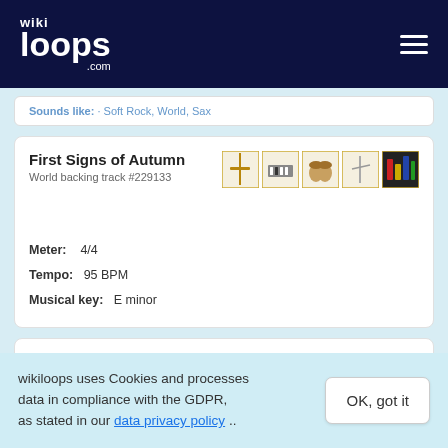wikiloops.com
Sounds like: · Soft Rock, World, Sax
First Signs of Autumn
World backing track #229133
Meter: 4/4
Tempo: 95 BPM
Musical key: E minor
after a short announcement sax starts at 1:52
Jazz backing track #1581
wikiloops uses Cookies and processes data in compliance with the GDPR, as stated in our data privacy policy ..